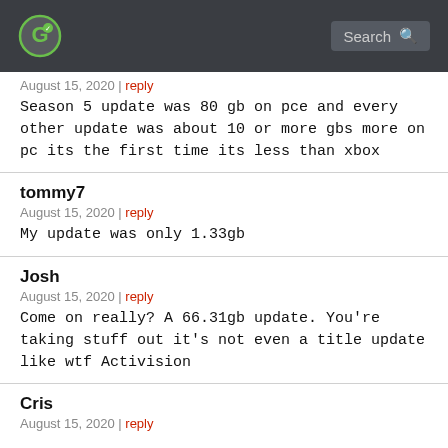[Logo] Search
August 15, 2020 | reply
Season 5 update was 80 gb on pce and every other update was about 10 or more gbs more on pc its the first time its less than xbox
tommy7
August 15, 2020 | reply
My update was only 1.33gb
Josh
August 15, 2020 | reply
Come on really? A 66.31gb update. You're taking stuff out it's not even a title update like wtf Activision
Cris
August 15, 2020 | reply